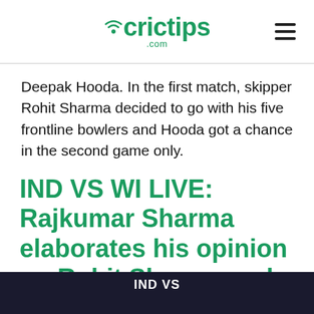crictips.com
Deepak Hooda. In the first match, skipper Rohit Sharma decided to go with his five frontline bowlers and Hooda got a chance in the second game only.
IND VS WI LIVE: Rajkumar Sharma elaborates his opinion on Rohit Sharma and Virat Kohli